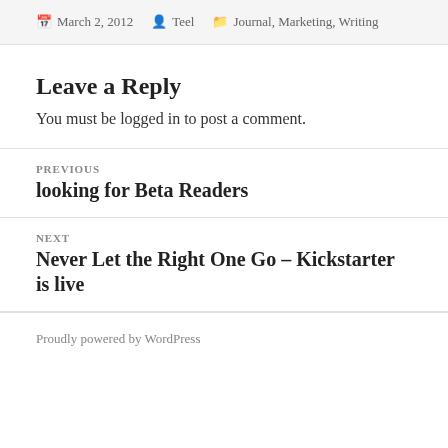March 2, 2012  Teel  Journal, Marketing, Writing
Leave a Reply
You must be logged in to post a comment.
PREVIOUS
looking for Beta Readers
NEXT
Never Let the Right One Go – Kickstarter is live
Proudly powered by WordPress